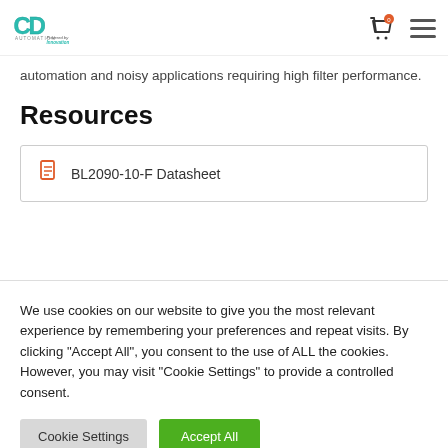CD Automation — Powered by Innovation
automation and noisy applications requiring high filter performance.
Resources
BL2090-10-F Datasheet
We use cookies on our website to give you the most relevant experience by remembering your preferences and repeat visits. By clicking "Accept All", you consent to the use of ALL the cookies. However, you may visit "Cookie Settings" to provide a controlled consent.